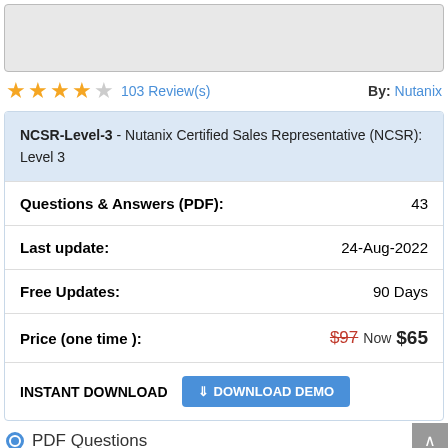[Figure (photo): Partial product image at top of page, cropped]
★★★★☆ 103 Review(s)   By: Nutanix
NCSR-Level-3 - Nutanix Certified Sales Representative (NCSR): Level 3
| Field | Value |
| --- | --- |
| Questions & Answers (PDF): | 43 |
| Last update: | 24-Aug-2022 |
| Free Updates: | 90 Days |
| Price (one time ): | $97 Now $65 |
| INSTANT DOWNLOAD | DOWNLOAD DEMO |
PDF Questions